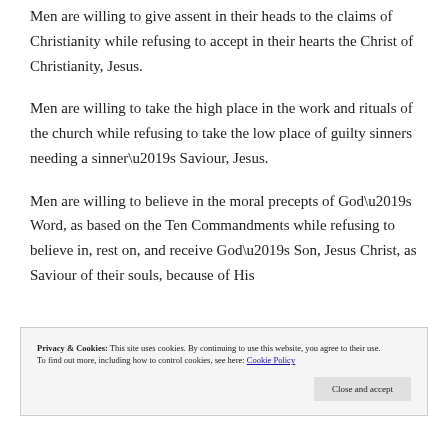Men are willing to give assent in their heads to the claims of Christianity while refusing to accept in their hearts the Christ of Christianity, Jesus.
Men are willing to take the high place in the work and rituals of the church while refusing to take the low place of guilty sinners needing a sinner’s Saviour, Jesus.
Men are willing to believe in the moral precepts of God’s Word, as based on the Ten Commandments while refusing to believe in, rest on, and receive God’s Son, Jesus Christ, as Saviour of their souls, because of His
Privacy & Cookies: This site uses cookies. By continuing to use this website, you agree to their use. To find out more, including how to control cookies, see here: Cookie Policy
Close and accept